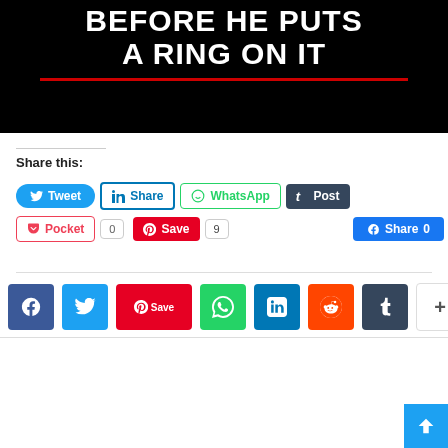[Figure (illustration): Black background banner image with bold white uppercase text 'BEFORE HE PUTS A RING ON IT' and a red horizontal line underneath]
Share this:
Tweet | Share | WhatsApp | Post | Pocket 0 | Save 9 | Share 0
[Figure (infographic): Row of social media share icon buttons: Facebook (blue), Twitter (light blue), Pinterest Save (red), WhatsApp (green), LinkedIn (dark blue), Reddit (orange), Tumblr (dark), More (white/grey plus)]